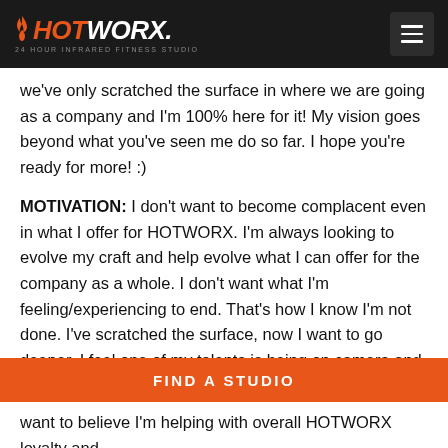HOTWORX. 24 HOUR INFRARED FITNESS STUDIO
we've only scratched the surface in where we are going as a company and I'm 100% here for it! My vision goes beyond what you've seen me do so far. I hope you're ready for more! :)
MOTIVATION: I don't want to become complacent even in what I offer for HOTWORX. I'm always looking to evolve my craft and help evolve what I can offer for the company as a whole. I don't want what I'm feeling/experiencing to end. That's how I know I'm not done. I've scratched the surface, now I want to go deeper. I feel one of my talents is being on camera and giving a certain energy through a screen, but there's even more of me that's been untapped. Last year I was asked, what will you do different this year, and I said "get a charter bus and
want to believe I'm helping with overall HOTWORX loyalty and